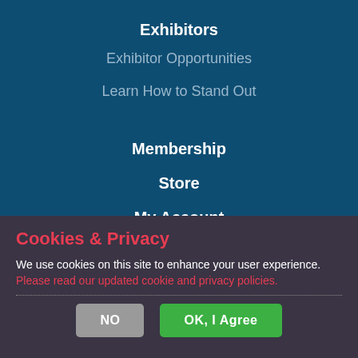Exhibitors
Exhibitor Opportunities
Learn How to Stand Out
Membership
Store
My Account
Blog
Cookies & Privacy
We use cookies on this site to enhance your user experience. Please read our updated cookie and privacy policies.
NO  OK, I Agree